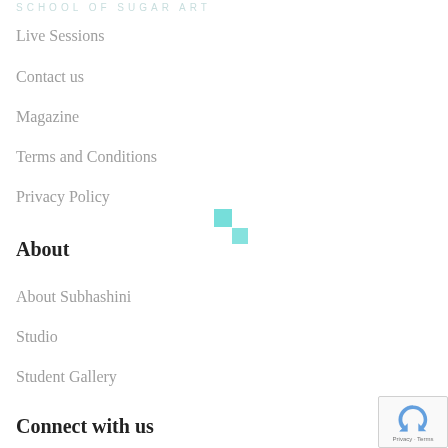SCHOOL OF SUGAR ART
Live Sessions
Contact us
Magazine
Terms and Conditions
Privacy Policy
About
About Subhashini
Studio
Student Gallery
Connect with us
[Figure (logo): Google reCAPTCHA badge with circular arrow icon and Privacy - Terms text]